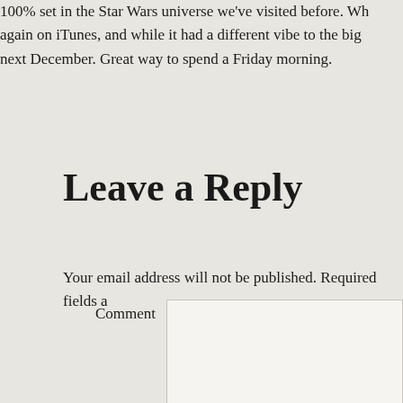100% set in the Star Wars universe we've visited before. Wh again on iTunes, and while it had a different vibe to the big next December. Great way to spend a Friday morning.
Leave a Reply
Your email address will not be published. Required fields a
Comment
Name *